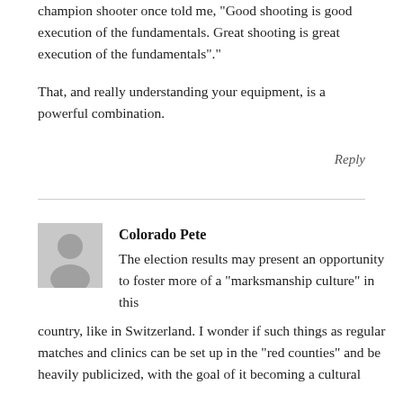champion shooter once told me, “Good shooting is good execution of the fundamentals. Great shooting is great execution of the fundamentals”.”
That, and really understanding your equipment, is a powerful combination.
Reply
Colorado Pete
The election results may present an opportunity to foster more of a “marksmanship culture” in this country, like in Switzerland. I wonder if such things as regular matches and clinics can be set up in the “red counties” and be heavily publicized, with the goal of it becoming a cultural